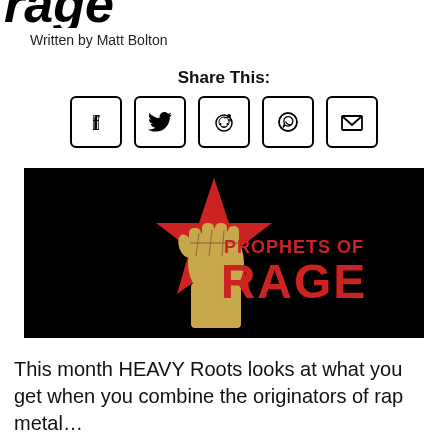rage
Written by Matt Bolton
Share This:
[Figure (illustration): Social media share icons in rounded squares: Facebook, Twitter, Reddit, WhatsApp, Email]
[Figure (illustration): Prophets of Rage band logo on black background with a raised fist over a red star and red text reading PROPHETS OF RAGE]
This month HEAVY Roots looks at what you get when you combine the originators of rap metal…